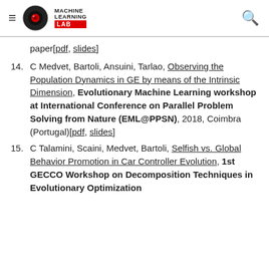Machine Learning Lab
paper[pdf, slides]
14. C Medvet, Bartoli, Ansuini, Tarlao, Observing the Population Dynamics in GE by means of the Intrinsic Dimension, Evolutionary Machine Learning workshop at International Conference on Parallel Problem Solving from Nature (EML@PPSN), 2018, Coimbra (Portugal)[pdf, slides]
15. C Talamini, Scaini, Medvet, Bartoli, Selfish vs. Global Behavior Promotion in Car Controller Evolution, 1st GECCO Workshop on Decomposition Techniques in Evolutionary Optimization